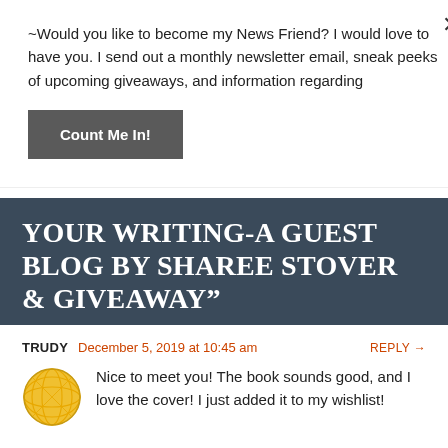~Would you like to become my News Friend? I would love to have you. I send out a monthly newsletter email, sneak peeks of upcoming giveaways, and information regarding
Count Me In!
YOUR WRITING-A GUEST BLOG BY SHAREE STOVER & GIVEAWAY"
TRUDY  December 5, 2019 at 10:45 am  REPLY →
Nice to meet you! The book sounds good, and I love the cover! I just added it to my wishlist!